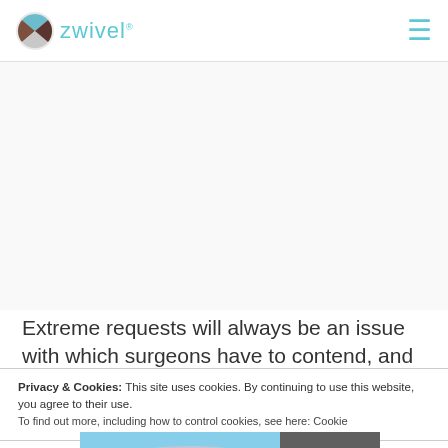zwivel
Extreme requests will always be an issue with which surgeons have to contend, and perhaps the best way
Privacy & Cookies: This site uses cookies. By continuing to use this website, you agree to their use. To find out more, including how to control cookies, see here: Cookie
[Figure (photo): Advertisement banner showing cargo being loaded onto a Southwest Airlines plane, with text 'WITHOUT REGARD TO POLITICS, RELIGION OR HEALTH TO MAN']